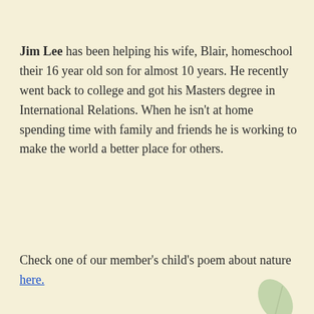Jim Lee has been helping his wife, Blair, homeschool their 16 year old son for almost 10 years. He recently went back to college and got his Masters degree in International Relations. When he isn't at home spending time with family and friends he is working to make the world a better place for others.
Check one of our member's child's poem about nature here.